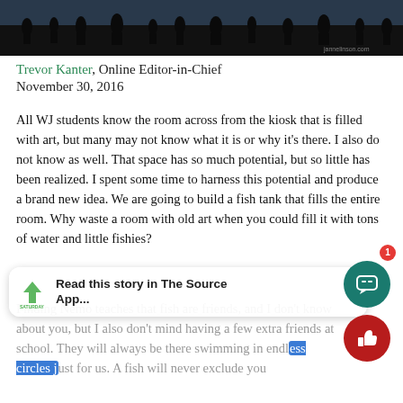[Figure (photo): Dark silhouette photo strip of people walking in front of a large mural or artwork, with a watermark 'jannelinson.com' visible in the lower right.]
Trevor Kanter, Online Editor-in-Chief
November 30, 2016
All WJ students know the room across from the kiosk that is filled with art, but many may not know what it is or why it’s there. I also do not know as well. That space has so much potential, but so little has been realized. I spent some time to harness this potential and produce a brand new idea. We are going to build a fish tank that fills the entire room. Why waste a room with old art when you could fill it with tons of water and little fishies?
Finding Nemo teaches that fish are friends, and I don’t know about you, but I also don’t mind having a few extra friends at school. They will always be there swimming in endless circles just for us. A fish will never exclude you